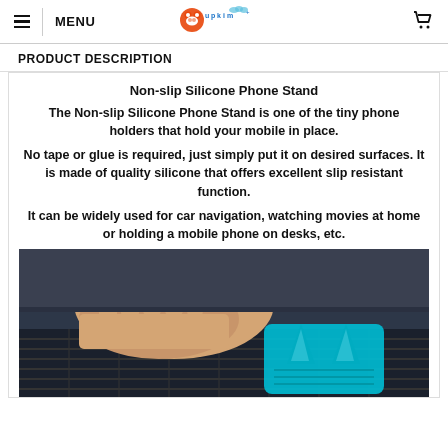MENU | Cupkim logo | cart icon
PRODUCT DESCRIPTION
Non-slip Silicone Phone Stand
The Non-slip Silicone Phone Stand is one of the tiny phone holders that hold your mobile in place.
No tape or glue is required, just simply put it on desired surfaces. It is made of quality silicone that offers excellent slip resistant function.
It can be widely used for car navigation, watching movies at home or holding a mobile phone on desks, etc.
[Figure (photo): A hand placing a blue silicone non-slip phone stand on a car dashboard surface]